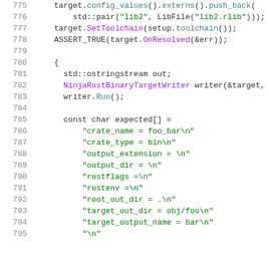Code listing lines 775-795 showing C++ test code with target configuration, toolchain setup, and expected output string construction for NinjaRustBinaryTargetWriter.